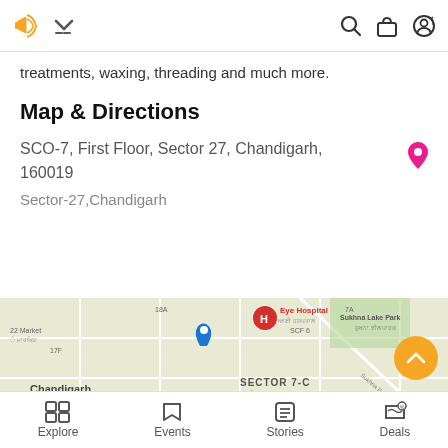Navigation bar with logo, search, bag, and profile icons
treatments, waxing, threading and much more.
Map & Directions
SCO-7, First Floor, Sector 27, Chandigarh, 160019
Sector-27,Chandigarh
[Figure (map): Google Maps view of Sector 27, Chandigarh area showing roads, Sector 7-C, Sector 26, Eye Hospital, Meat Market Association, Grain Market, Zirakpur Airport marker, and other local landmarks.]
Explore | Events | Stories | Deals